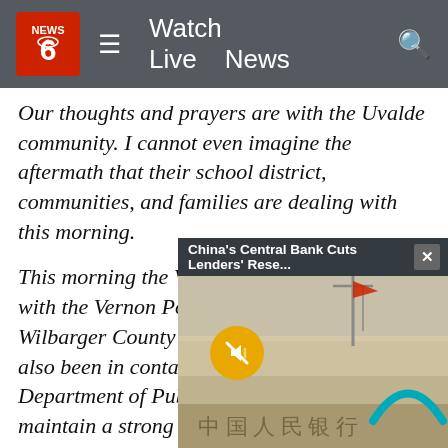NEWS 6 | Watch Live | News
Our thoughts and prayers are with the Uvalde community. I cannot even imagine the aftermath that their school district, communities, and families are dealing with this morning.
This morning the VISD administration met with the Vernon Police Department and the Wilbarger County Sheriff's Office. We have also been in contact with the Texas Department of Public Safety. All three will maintain a strong presence on and around the ISD campuses for the remainder of this week. The administration will continue to teach students the importance of safety rules and procedures.
Over the last few years we have taken several steps to help ensure the safety of our students. Our objective...
[Figure (screenshot): Video popup overlay with header text 'China's Central Bank Cuts Lenders' Rese...' and a close button X, showing a photo of a building (People's Bank of China) with a teal arch logo and a muted audio button]